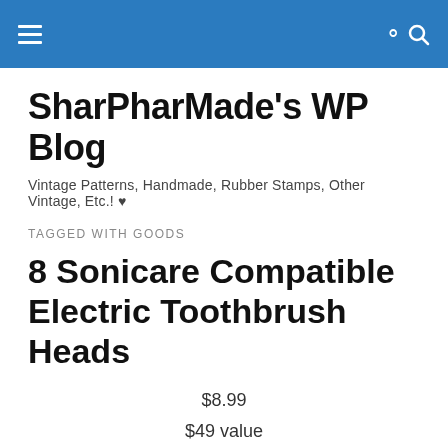SharPharMade's WP Blog — navigation header bar
SharPharMade's WP Blog
Vintage Patterns, Handmade, Rubber Stamps, Other Vintage, Etc.! ♥
TAGGED WITH GOODS
8 Sonicare Compatible Electric Toothbrush Heads
$8.99
$49 value
plus $3.99 shipping
https://www.livingsocial.com/products/us/tag/health/1215...